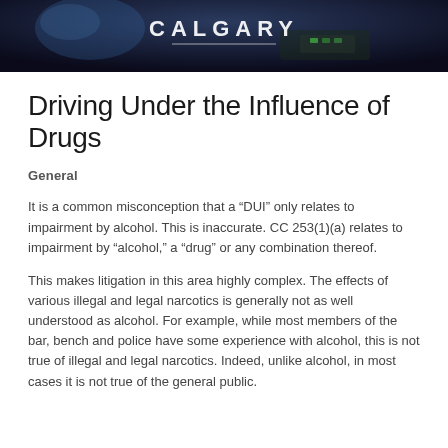[Figure (photo): Dark header banner with blurred car interior background and partial text 'CALGARY' in white letters with a decorative underline]
Driving Under the Influence of Drugs
General
It is a common misconception that a “DUI” only relates to impairment by alcohol. This is inaccurate. CC 253(1)(a) relates to impairment by “alcohol,” a “drug” or any combination thereof.
This makes litigation in this area highly complex. The effects of various illegal and legal narcotics is generally not as well understood as alcohol. For example, while most members of the bar, bench and police have some experience with alcohol, this is not true of illegal and legal narcotics. Indeed, unlike alcohol, in most cases it is not true of the general public.